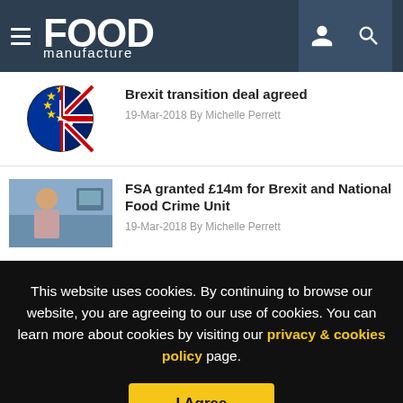Food Manufacture
[Figure (photo): EU and UK flags overlaid on a clock face]
Brexit transition deal agreed
19-Mar-2018 By Michelle Perrett
[Figure (photo): Woman seated in an office environment]
FSA granted £14m for Brexit and National Food Crime Unit
19-Mar-2018 By Michelle Perrett
This website uses cookies. By continuing to browse our website, you are agreeing to our use of cookies. You can learn more about cookies by visiting our privacy & cookies policy page.
I Agree